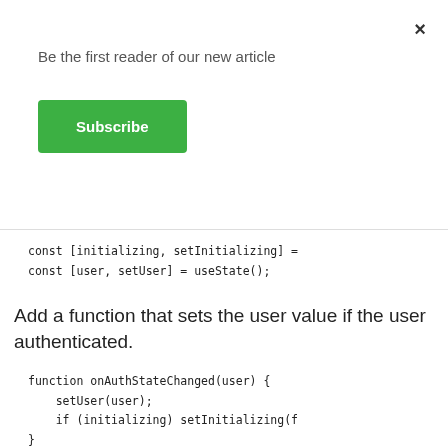Be the first reader of our new article
Subscribe
×
const [initializing, setInitializing] =
const [user, setUser] = useState();
Add a function that sets the user value if the user authenticated.
function onAuthStateChanged(user) {
    setUser(user);
    if (initializing) setInitializing(f
}
Add the useEffect function check the